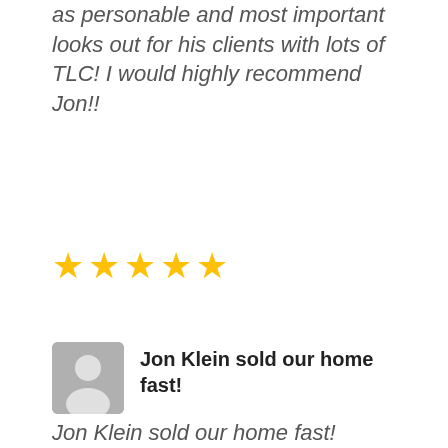as personable and most important looks out for his clients with lots of TLC! I would highly recommend Jon!!
[Figure (other): Five yellow star rating icons]
Jon Klein sold our home fast!
Jon Klein sold our home fast! From